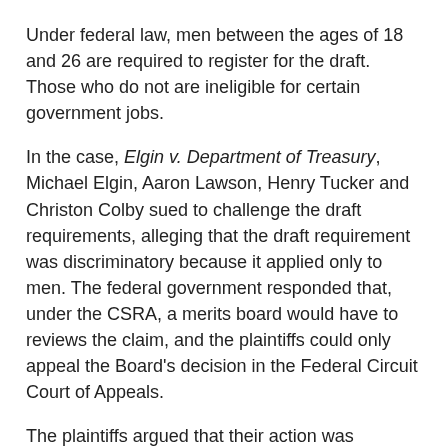Under federal law, men between the ages of 18 and 26 are required to register for the draft. Those who do not are ineligible for certain government jobs.
In the case, Elgin v. Department of Treasury, Michael Elgin, Aaron Lawson, Henry Tucker and Christon Colby sued to challenge the draft requirements, alleging that the draft requirement was discriminatory because it applied only to men. The federal government responded that, under the CSRA, a merits board would have to reviews the claim, and the plaintiffs could only appeal the Board's decision in the Federal Circuit Court of Appeals.
The plaintiffs argued that their action was different because they were attacking the constitutionality of a law that related to a federal employment practice. This week, the Supreme Court disagreed, noting that "the CSRA's objective of creating an integrated scheme of review would be seriously